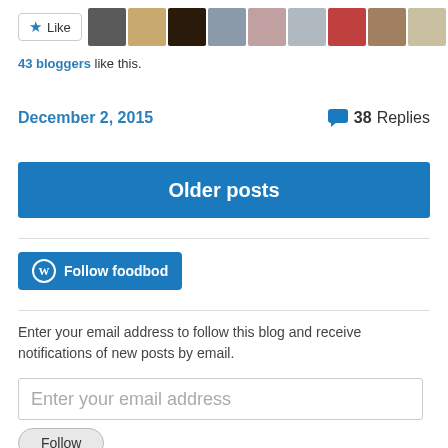[Figure (other): Like button with star icon followed by a row of 11 blogger avatar thumbnails]
43 bloggers like this.
December 2, 2015   38 Replies
Older posts
[Figure (other): Follow foodbod button with WordPress icon]
Enter your email address to follow this blog and receive notifications of new posts by email.
Enter your email address
Follow